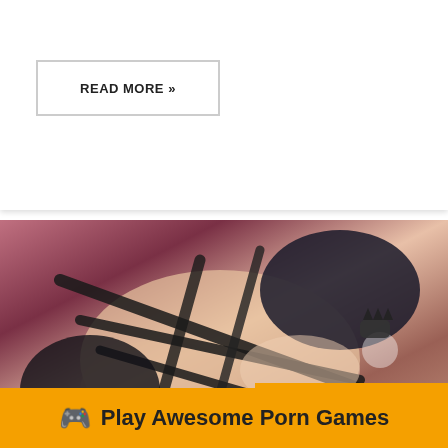READ MORE »
[Figure (photo): 3D rendered figure in black leather harness straps, adult content]
close
Cocks Gay Xxx
🎮 Play Awesome Porn Games